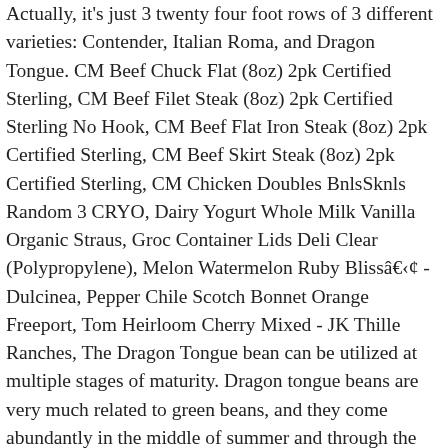Actually, it's just 3 twenty four foot rows of 3 different varieties: Contender, Italian Roma, and Dragon Tongue. CM Beef Chuck Flat (8oz) 2pk Certified Sterling, CM Beef Filet Steak (8oz) 2pk Certified Sterling No Hook, CM Beef Flat Iron Steak (8oz) 2pk Certified Sterling, CM Beef Skirt Steak (8oz) 2pk Certified Sterling, CM Chicken Doubles BnlsSknls Random 3 CRYO, Dairy Yogurt Whole Milk Vanilla Organic Straus, Groc Container Lids Deli Clear (Polypropylene), Melon Watermelon Ruby Blissâ¢ - Dulcinea, Pepper Chile Scotch Bonnet Orange Freeport, Tom Heirloom Cherry Mixed - JK Thille Ranches, The Dragon Tongue bean can be utilized at multiple stages of maturity. Dragon tongue beans are very much related to green beans, and they come abundantly in the middle of summer and through the entirety of autumn. Protein, by the way, is also vital for healthy skin, hair and nails, and also for the production of certain hormones and enzymes in the body. For best flavor and texture use beans within four to five days. A lot of people love to boil